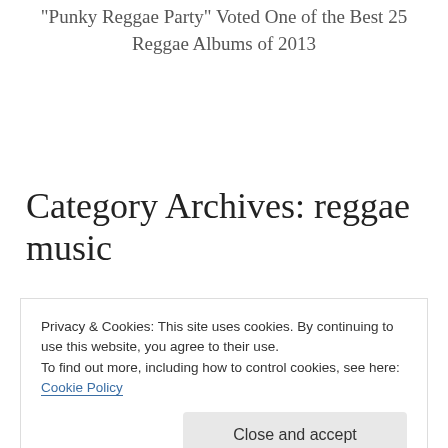"Punky Reggae Party" Voted One of the Best 25 Reggae Albums of 2013
Category Archives: reggae music
Privacy & Cookies: This site uses cookies. By continuing to use this website, you agree to their use.
To find out more, including how to control cookies, see here: Cookie Policy
Close and accept
The joint, Simasiri radio (response to hearing "Blue